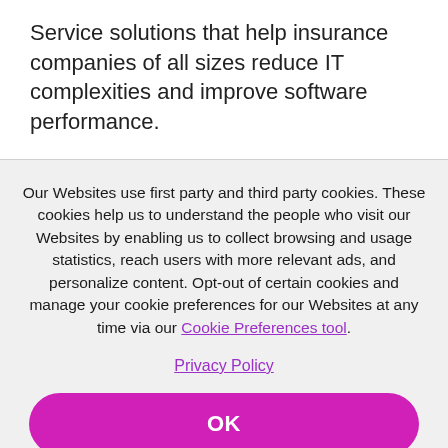Service solutions that help insurance companies of all sizes reduce IT complexities and improve software performance.
Our Websites use first party and third party cookies. These cookies help us to understand the people who visit our Websites by enabling us to collect browsing and usage statistics, reach users with more relevant ads, and personalize content. Opt-out of certain cookies and manage your cookie preferences for our Websites at any time via our Cookie Preferences tool.
Privacy Policy
OK